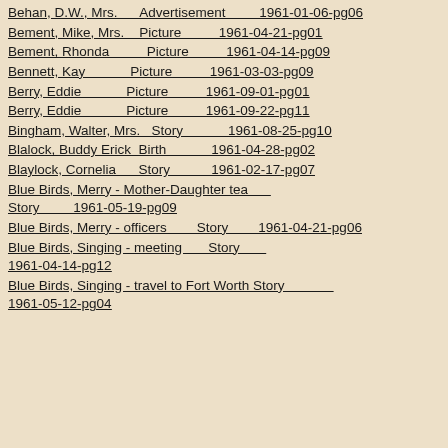Behan, D.W., Mrs.    Advertisement    1961-01-06-pg06
Bement, Mike, Mrs.    Picture    1961-04-21-pg01
Bement, Rhonda    Picture    1961-04-14-pg09
Bennett, Kay    Picture    1961-03-03-pg09
Berry, Eddie    Picture    1961-09-01-pg01
Berry, Eddie    Picture    1961-09-22-pg11
Bingham, Walter, Mrs.    Story    1961-08-25-pg10
Blalock, Buddy Erick    Birth    1961-04-28-pg02
Blaylock, Cornelia    Story    1961-02-17-pg07
Blue Birds, Merry - Mother-Daughter tea    Story    1961-05-19-pg09
Blue Birds, Merry - officers    Story    1961-04-21-pg06
Blue Birds, Singing - meeting    Story    1961-04-14-pg12
Blue Birds, Singing - travel to Fort Worth  Story    1961-05-12-pg04